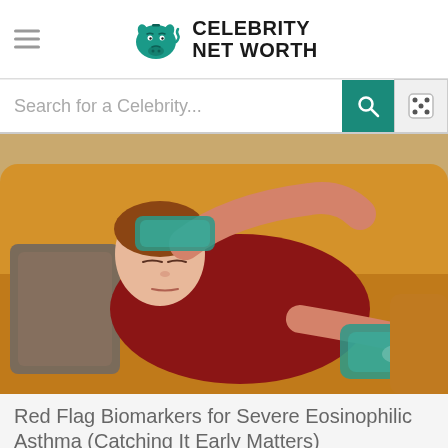Celebrity Net Worth
Search for a Celebrity...
[Figure (photo): A woman in a dark red shirt reclines on a mustard-yellow sofa holding a blue gel ice pack to her forehead with one hand and another ice pack on her abdomen, eyes closed, appearing unwell.]
Red Flag Biomarkers for Severe Eosinophilic Asthma (Catching It Early Matters)